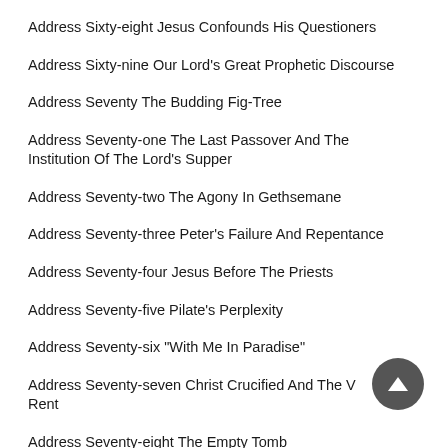Address Sixty-eight Jesus Confounds His Questioners
Address Sixty-nine Our Lord's Great Prophetic Discourse
Address Seventy The Budding Fig-Tree
Address Seventy-one The Last Passover And The Institution Of The Lord's Supper
Address Seventy-two The Agony In Gethsemane
Address Seventy-three Peter's Failure And Repentance
Address Seventy-four Jesus Before The Priests
Address Seventy-five Pilate's Perplexity
Address Seventy-six "With Me In Paradise"
Address Seventy-seven Christ Crucified And The Veil Rent
Address Seventy-eight The Empty Tomb